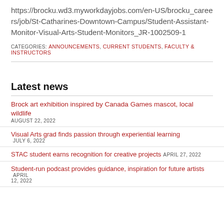https://brocku.wd3.myworkdayjobs.com/en-US/brocku_careers/job/St-Catharines-Downtown-Campus/Student-Assistant-Monitor-Visual-Arts-Student-Monitors_JR-1002509-1
CATEGORIES: Announcements, Current Students, Faculty & Instructors
Latest news
Brock art exhibition inspired by Canada Games mascot, local wildlife AUGUST 22, 2022
Visual Arts grad finds passion through experiential learning JULY 6, 2022
STAC student earns recognition for creative projects APRIL 27, 2022
Student-run podcast provides guidance, inspiration for future artists APRIL 12, 2022